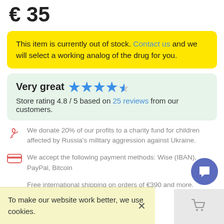€ 35
This item is currently out of stock. Contact us and we will select a working analog of the drug for you.
Very great  ★★★★½  Store rating 4.8 / 5 based on 25 reviews from our customers.
We donate 20% of our profits to a charity fund for children affected by Russia's military aggression against Ukraine.
We accept the following payment methods: Wise (IBAN), PayPal, Bitcoin
Free international shipping on orders of €390 and more. Shipping time: 7-14
To make our website work better, we use cookies.